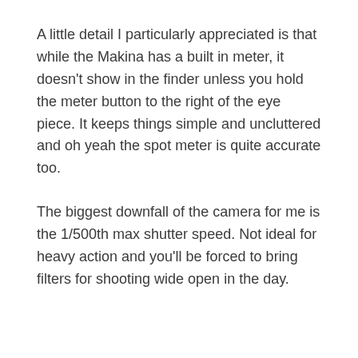A little detail I particularly appreciated is that while the Makina has a built in meter, it doesn't show in the finder unless you hold the meter button to the right of the eye piece. It keeps things simple and uncluttered and oh yeah the spot meter is quite accurate too.
The biggest downfall of the camera for me is the 1/500th max shutter speed. Not ideal for heavy action and you'll be forced to bring filters for shooting wide open in the day.